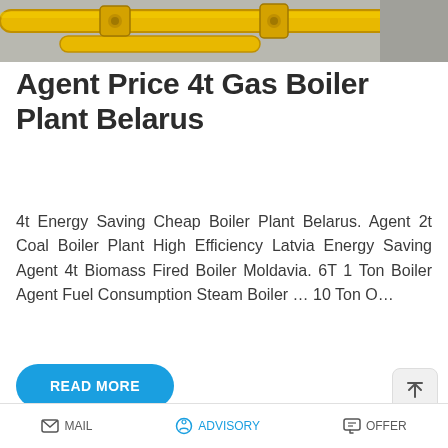[Figure (photo): Close-up of yellow industrial gas pipes and fittings in a boiler plant]
Agent Price 4t Gas Boiler Plant Belarus
4t Energy Saving Cheap Boiler Plant Belarus. Agent 2t Coal Boiler Plant High Efficiency Latvia Energy Saving Agent 4t Biomass Fired Boiler Moldavia. 6T 1 Ton Boiler Agent Fuel Consumption Steam Boiler … 10 Ton O…
[Figure (photo): Industrial gas boiler plant with yellow pipes, valves and fittings; WhatsApp sticker-saver overlay visible at bottom]
MAIL   ADVISORY   OFFER